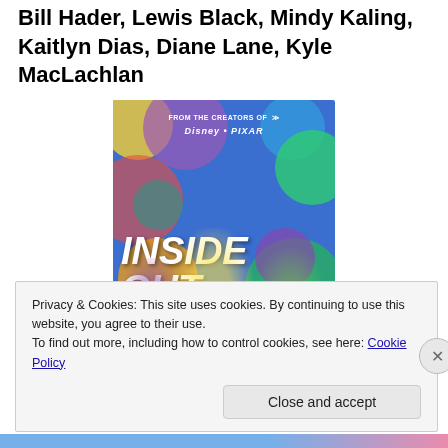Starring: Amy Poehler, Phyllis Smith, Richard Kind, Bill Hader, Lewis Black, Mindy Kaling, Kaitlyn Dias, Diane Lane, Kyle MacLachlan
[Figure (photo): Movie poster for Disney Pixar's Inside Out. Blue background with colorful circles. Text reads 'FROM THE CREATORS OF' at top, Disney Pixar logo, and large 'INSIDE OUT' title. Animated characters including Joy (yellow girl with blue hair), Disgust (green girl), and Fear (purple creature) are shown.]
Privacy & Cookies: This site uses cookies. By continuing to use this website, you agree to their use.
To find out more, including how to control cookies, see here: Cookie Policy